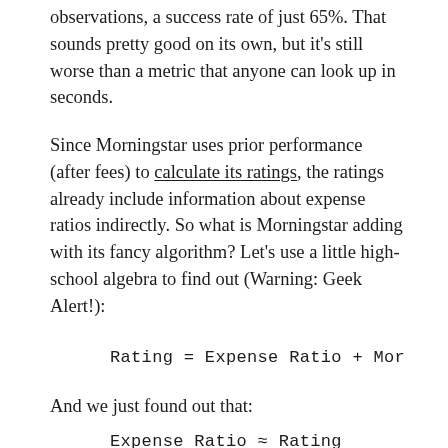observations, a success rate of just 65%. That sounds pretty good on its own, but it's still worse than a metric that anyone can look up in seconds.
Since Morningstar uses prior performance (after fees) to calculate its ratings, the ratings already include information about expense ratios indirectly. So what is Morningstar adding with its fancy algorithm? Let's use a little high-school algebra to find out (Warning: Geek Alert!):
And we just found out that: